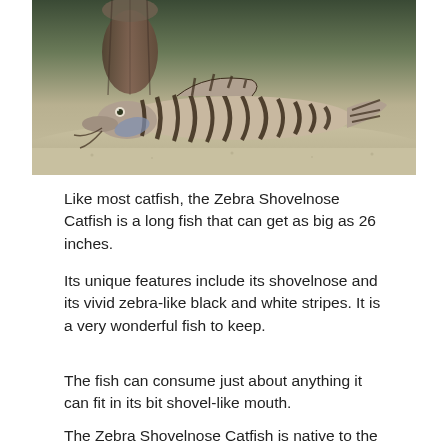[Figure (photo): A Zebra Shovelnose Catfish resting on sandy aquarium floor with a wooden log behind it. The fish has distinctive black and white zebra-like wavy stripes along its body.]
Like most catfish, the Zebra Shovelnose Catfish is a long fish that can get as big as 26 inches.
Its unique features include its shovelnose and its vivid zebra-like black and white stripes. It is a very wonderful fish to keep.
The fish can consume just about anything it can fit in its bit shovel-like mouth.
The Zebra Shovelnose Catfish is native to the Amazon River